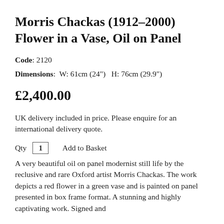Morris Chackas (1912–2000) Flower in a Vase, Oil on Panel
Code: 2120
Dimensions:  W: 61cm (24")  H: 76cm (29.9")
£2,400.00
UK delivery included in price. Please enquire for an international delivery quote.
Qty 1  Add to Basket
A very beautiful oil on panel modernist still life by the reclusive and rare Oxford artist Morris Chackas. The work depicts a red flower in a green vase and is painted on panel presented in box frame format. A stunning and highly captivating work. Signed and